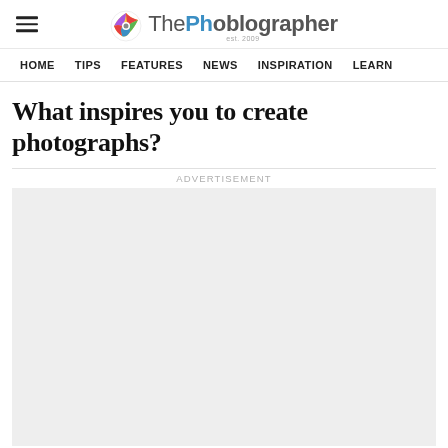ThePhoblographer est. 2009
HOME  TIPS  FEATURES  NEWS  INSPIRATION  LEARN
What inspires you to create photographs?
ADVERTISEMENT
[Figure (other): Advertisement placeholder box (light gray empty ad unit)]